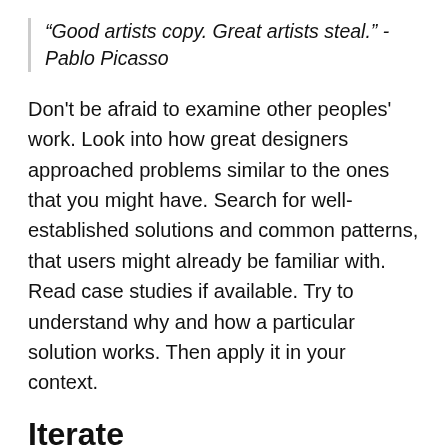“Good artists copy. Great artists steal.” - Pablo Picasso
Don't be afraid to examine other peoples' work. Look into how great designers approached problems similar to the ones that you might have. Search for well-established solutions and common patterns, that users might already be familiar with. Read case studies if available. Try to understand why and how a particular solution works. Then apply it in your context.
Iterate